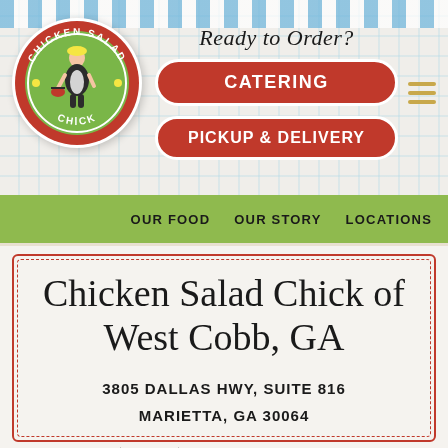[Figure (logo): Chicken Salad Chick circular logo with red ring border, green center, and illustrated woman figure]
Ready to Order?
CATERING
PICKUP & DELIVERY
OUR FOOD   OUR STORY   LOCATIONS
Chicken Salad Chick of West Cobb, GA
3805 DALLAS HWY, SUITE 816
MARIETTA, GA 30064
(770) 637-5727